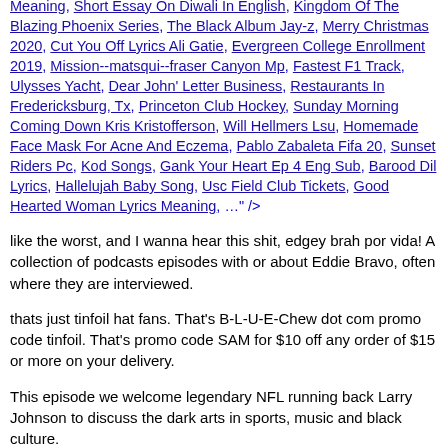Meaning, Short Essay On Diwali In English, Kingdom Of The Blazing Phoenix Series, The Black Album Jay-z, Merry Christmas 2020, Cut You Off Lyrics Ali Gatie, Evergreen College Enrollment 2019, Mission--matsqui--fraser Canyon Mp, Fastest F1 Track, Ulysses Yacht, Dear John' Letter Business, Restaurants In Fredericksburg, Tx, Princeton Club Hockey, Sunday Morning Coming Down Kris Kristofferson, Will Hellmers Lsu, Homemade Face Mask For Acne And Eczema, Pablo Zabaleta Fifa 20, Sunset Riders Pc, Kod Songs, Gank Your Heart Ep 4 Eng Sub, Barood Dil Lyrics, Hallelujah Baby Song, Usc Field Club Tickets, Good Hearted Woman Lyrics Meaning, …" />
like the worst, and I wanna hear this shit, edgey brah por vida! A collection of podcasts episodes with or about Eddie Bravo, often where they are interviewed.
thats just tinfoil hat fans. That's B-L-U-E-Chew dot com promo code tinfoil. That's promo code SAM for $10 off any order of $15 or more on your delivery.
This episode we welcome legendary NFL running back Larry Johnson to discuss the dark arts in sports, music and black culture.
For all the Tin Foil Hat listeners goto CBDLion.com and type the word "Tinfoil" to 20% off for every order.Blue Chew: Visit Blue Chew dot com and get your first shipment free when you use